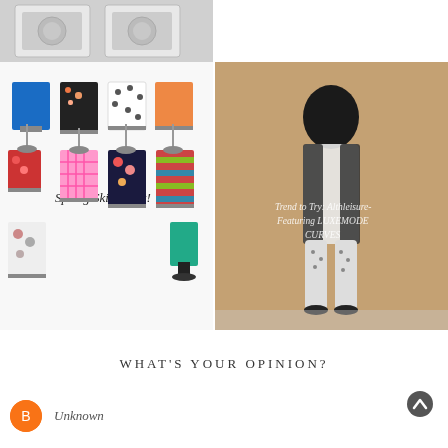[Figure (photo): White appliances on grey background, cropped at top]
[Figure (photo): Spring Skirt Alert collage showing multiple colorful skirts on mannequins with cursive text overlay]
[Figure (photo): Trend to Try: Althleisure- Featuring LUXEMODE CURVES - photo of a woman leaning against a brown wall]
WHAT'S YOUR OPINION?
Unknown